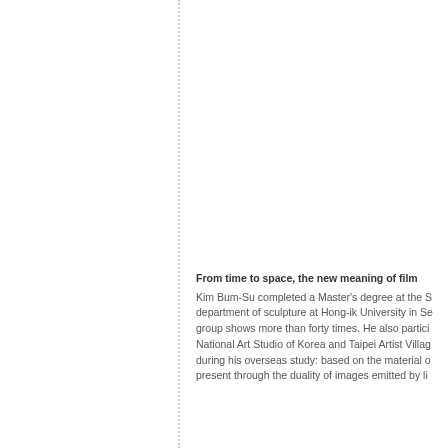From time to space, the new meaning of film
Kim Bum-Su completed a Master's degree at the department of sculpture at Hong-ik University in Seoul, group shows more than forty times. He also participated in National Art Studio of Korea and Taipei Artist Village during his overseas study: based on the material of present through the duality of images emitted by light.